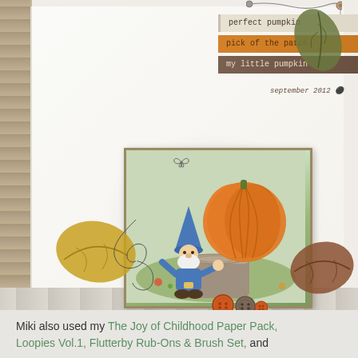[Figure (illustration): Digital scrapbook layout page featuring a photo of a garden gnome figurine holding up a large pumpkin on a tree stump, framed with a gold border. Decorative elements include autumn leaves, tag labels reading 'perfect pumpkin', 'pick of the patch', 'my little pumpkin', date 'september 2012', swirl doodles, buttons, and a wire/string decoration. Background has wood panel texture on left side and cream paper.]
Miki also used my The Joy of Childhood Paper Pack, Loopies Vol.1, Flutterby Rub-Ons & Brush Set, and